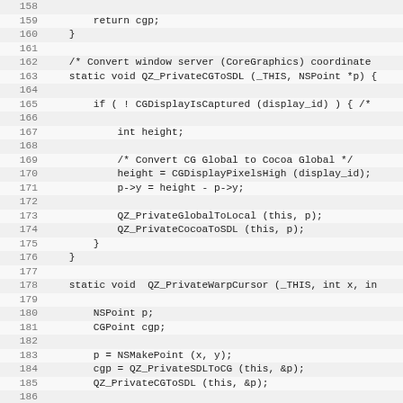[Figure (screenshot): Source code listing in C showing lines 158-189 of a file with functions QZ_PrivateCGToSDL and QZ_PrivateWarpCursor, displayed with alternating light grey and white line backgrounds and monospace font.]